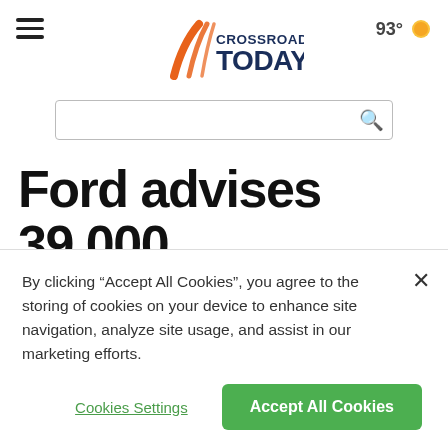[Figure (logo): Crossroads Today logo — orange road-stripes icon with 'CROSSROADS TODAY' text in dark navy]
Ford advises 39,000 Expedition and Navigator owners to
By clicking “Accept All Cookies”, you agree to the storing of cookies on your device to enhance site navigation, analyze site usage, and assist in our marketing efforts.
Cookies Settings
Accept All Cookies